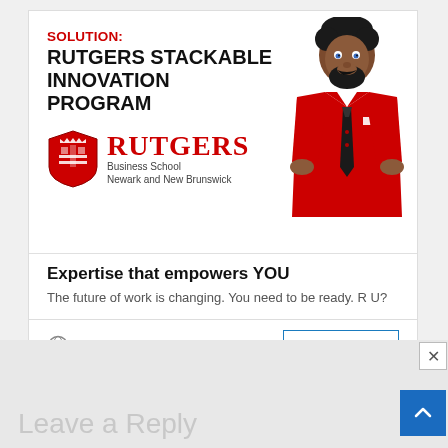[Figure (infographic): Rutgers Business School advertisement card featuring a stylized illustrated man in a red suit with black tie. Contains bold text 'SOLUTION: RUTGERS STACKABLE INNOVATION PROGRAM', Rutgers shield logo, Rutgers Business School Newark and New Brunswick text, tagline 'Expertise that empowers YOU', subtext 'The future of work is changing. You need to be ready. R U?', globe icon with 'Rutgers Business School', and a 'Learn More' button.]
Leave a Reply